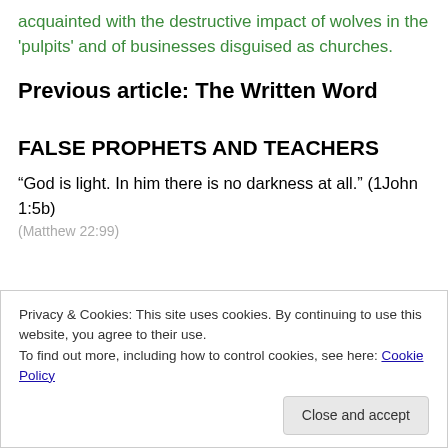acquainted with the destructive impact of wolves in the 'pulpits' and of businesses disguised as churches.
Previous article: The Written Word
FALSE PROPHETS AND TEACHERS
“God is light. In him there is no darkness at all.” (1John 1:5b)
Privacy & Cookies: This site uses cookies. By continuing to use this website, you agree to their use.
To find out more, including how to control cookies, see here: Cookie Policy
Close and accept
(Matthew 22:99)